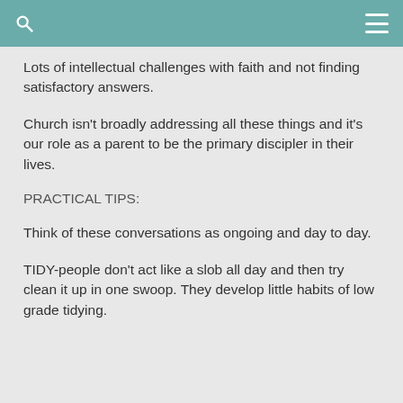Lots of intellectual challenges with faith and not finding satisfactory answers.
Church isn't broadly addressing all these things and it's our role as a parent to be the primary discipler in their lives.
PRACTICAL TIPS:
Think of these conversations as ongoing and day to day.
TIDY-people don't act like a slob all day and then try clean it up in one swoop. They develop little habits of low grade tidying.